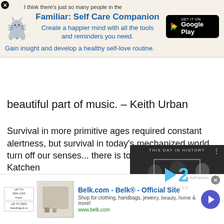[Figure (infographic): App advertisement banner for 'Familiar: Self Care Companion' with cat icon, Google Play button, and tagline about creating a happier mind.]
beautiful part of music. – Keith Urban
Survival in more primitive ages required constant alertness, but survival in today's mechanized world... turn off our senses... there is too much ... Carole Katchen
[Figure (screenshot): Video player overlay showing 'This Day in History' with date August 12, play button, mute icon, progress bar, and fullscreen button.]
Days go by I can feel 'em flying like a hand
[Figure (infographic): Bottom advertisement for Belk.com - Belk® - Official Site with tagline 'Shop for clothing, handbags, jewelry, beauty, home & more!' and URL www.belk.com]